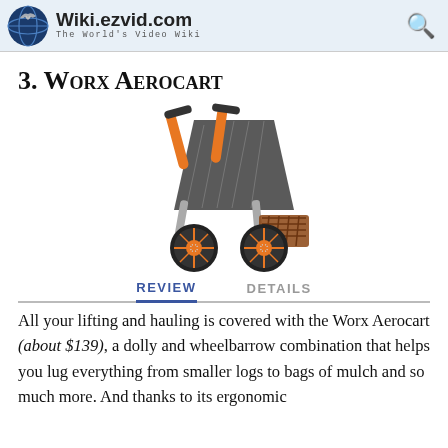Wiki.ezvid.com — The World's Video Wiki
3. Worx Aerocart
[Figure (photo): Photo of the Worx Aerocart, a wheelbarrow and dolly combination with orange frame handles, dark gray tray, orange wheels, and a folded basket attachment.]
REVIEW   DETAILS
All your lifting and hauling is covered with the Worx Aerocart (about $139), a dolly and wheelbarrow combination that helps you lug everything from smaller logs to bags of mulch and so much more. And thanks to its ergonomic